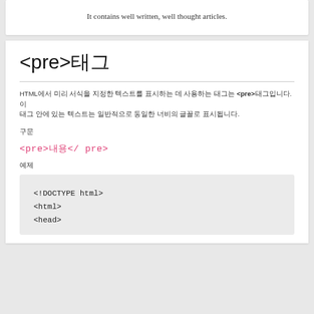It contains well written, well thought articles.
<pre>태그
HTML에서 미리 서식을 지정한 텍스트를 표시하는 데 사용하는 태그는 **<pre>**태그입니다. 이 태그 안에 있는 텍스트는 일반적으로 동일한 너비의 글꼴로 표시됩니다.
구문
<pre>내용</ pre>
예제
<!DOCTYPE html>
<html>
<head>